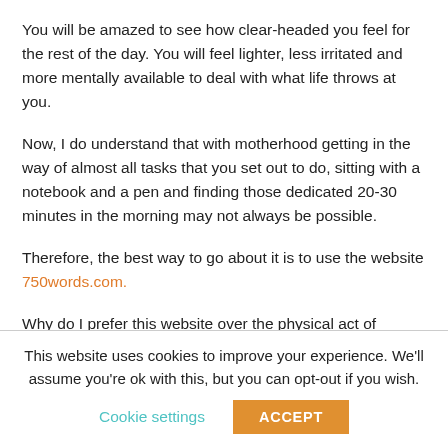You will be amazed to see how clear-headed you feel for the rest of the day. You will feel lighter, less irritated and more mentally available to deal with what life throws at you.
Now, I do understand that with motherhood getting in the way of almost all tasks that you set out to do, sitting with a notebook and a pen and finding those dedicated 20-30 minutes in the morning may not always be possible.
Therefore, the best way to go about it is to use the website 750words.com.
Why do I prefer this website over the physical act of writing?
This website uses cookies to improve your experience. We'll assume you're ok with this, but you can opt-out if you wish.
Cookie settings
ACCEPT